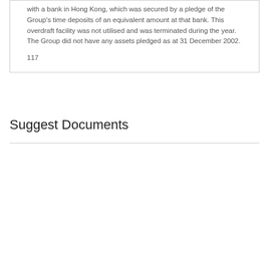with a bank in Hong Kong, which was secured by a pledge of the Group's time deposits of an equivalent amount at that bank. This overdraft facility was not utilised and was terminated during the year. The Group did not have any assets pledged as at 31 December 2002.
117
Suggest Documents